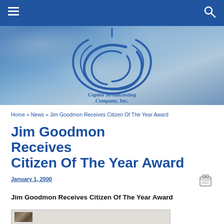[Figure (logo): Capitol Broadcasting Company, Inc. logo — stylized CBC letters in blue outline with italic text below]
Home » News » Jim Goodmon Receives Citizen Of The Year Award
Jim Goodmon Receives Citizen Of The Year Award
January 1, 2000
Jim Goodmon Receives Citizen Of The Year Award